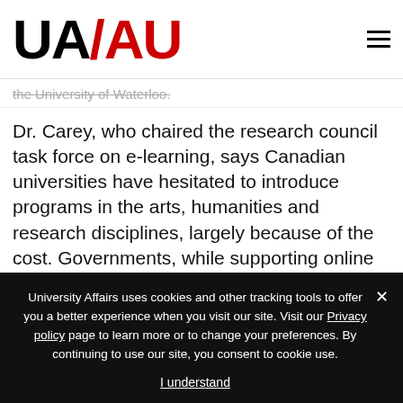[Figure (logo): UAAU logo — UA in black, slash and AU in red, bold condensed font]
the University of Waterloo.
Dr. Carey, who chaired the research council task force on e-learning, says Canadian universities have hesitated to introduce programs in the arts, humanities and research disciplines, largely because of the cost. Governments, while supporting online learning in principle, haven't offered any new funding to allow universities to try it out.
University Affairs uses cookies and other tracking tools to offer you a better experience when you visit our site. Visit our Privacy policy page to learn more or to change your preferences. By continuing to use our site, you consent to cookie use.
I understand